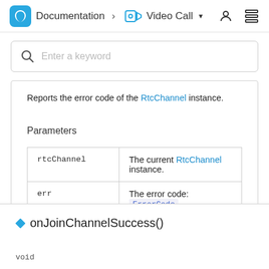Documentation > Video Call
Reports the error code of the RtcChannel instance.
Parameters
| rtcChannel | The current RtcChannel instance. |
| err | The error code: ErrorCode |
◆ onJoinChannelSuccess()
void